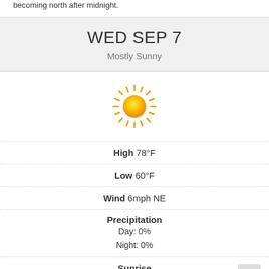becoming north after midnight.
WED SEP 7
Mostly Sunny
[Figure (illustration): Sun icon — yellow sun with rays, mostly sunny weather symbol]
High 78°F
Low 60°F
Wind 6mph NE
Precipitation
Day: 0%
Night: 0%
Sunrise
7:05 am
Sunset